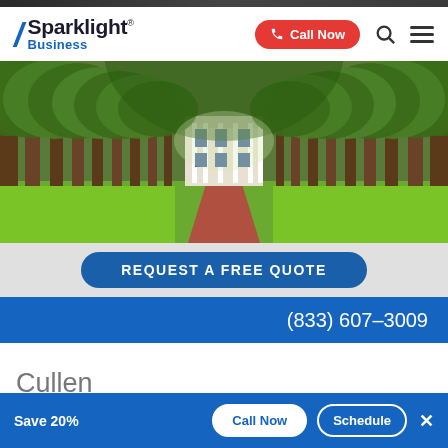[Figure (logo): Sparklight Business logo with blue slash and text]
[Figure (photo): Tree-lined brick pathway leading to a white plantation-style mansion surrounded by large oak trees and green lawn]
REQUEST A FREE QUOTE
(833) 607-3009
Cullen
Save 20%